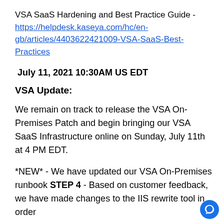VSA SaaS Hardening and Best Practice Guide - https://helpdesk.kaseya.com/hc/en-gb/articles/4403622421009-VSA-SaaS-Best-Practices
July 11, 2021 10:30AM US EDT
VSA Update:
We remain on track to release the VSA On-Premises Patch and begin bringing our VSA SaaS Infrastructure online on Sunday, July 11th at 4 PM EDT.
*NEW* - We have updated our VSA On-Premises runbook STEP 4 - Based on customer feedback, we have made changes to the IIS rewrite tool in order